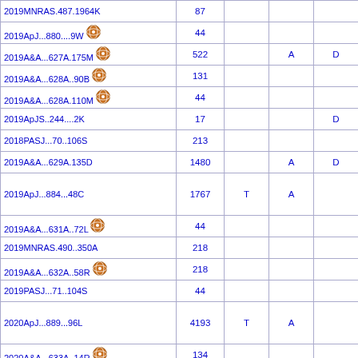| Reference | Count |  |  |  |
| --- | --- | --- | --- | --- |
| 2019MNRAS.487.1964K | 87 |  |  |  |
| 2019ApJ...880....9W [icon] | 44 |  |  |  |
| 2019A&A...627A.175M [icon] | 522 |  | A | D |
| 2019A&A...628A..90B [icon] | 131 |  |  |  |
| 2019A&A...628A.110M [icon] | 44 |  |  |  |
| 2019ApJS..244....2K | 17 |  |  | D |
| 2018PASJ...70..106S | 213 |  |  |  |
| 2019A&A...629A.135D | 1480 |  | A | D |
| 2019ApJ...884...48C | 1767 | T | A |  |
| 2019A&A...631A..72L [icon] | 44 |  |  |  |
| 2019MNRAS.490..350A | 218 |  |  |  |
| 2019A&A...632A..58R [icon] | 218 |  |  |  |
| 2019PASJ...71..104S | 44 |  |  |  |
| 2020ApJ...889...96L | 4193 | T | A |  |
| 2020A&A...633A..14R [icon] | 134 |  |  |  |
| 2020A&A...634A..83W [icon] | 627 |  |  |  |